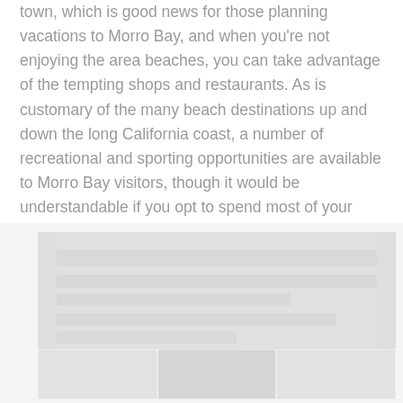town, which is good news for those planning vacations to Morro Bay, and when you're not enjoying the area beaches, you can take advantage of the tempting shops and restaurants. As is customary of the many beach destinations up and down the long California coast, a number of recreational and sporting opportunities are available to Morro Bay visitors, though it would be understandable if you opt to spend most of your time relaxing on Morro Bay Beach.
[Figure (other): Advertisement placeholder image with light gray background and blurred/faded content blocks]